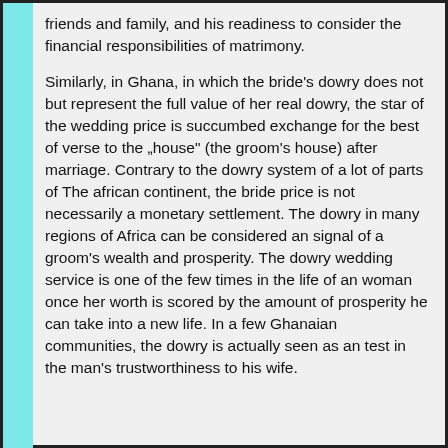friends and family, and his readiness to consider the financial responsibilities of matrimony.
Similarly, in Ghana, in which the bride's dowry does not but represent the full value of her real dowry, the star of the wedding price is succumbed exchange for the best of verse to the „house" (the groom's house) after marriage. Contrary to the dowry system of a lot of parts of The african continent, the bride price is not necessarily a monetary settlement. The dowry in many regions of Africa can be considered an signal of a groom's wealth and prosperity. The dowry wedding service is one of the few times in the life of an woman once her worth is scored by the amount of prosperity he can take into a new life. In a few Ghanaian communities, the dowry is actually seen as an test in the man's trustworthiness to his wife.